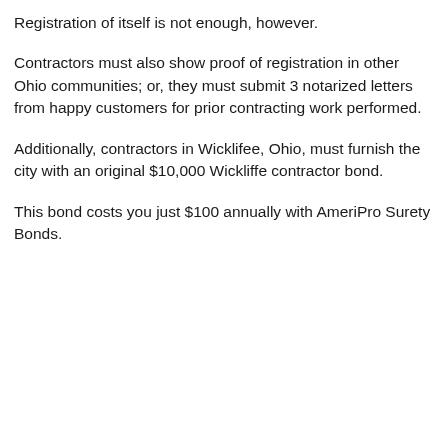Registration of itself is not enough, however.
Contractors must also show proof of registration in other Ohio communities; or, they must submit 3 notarized letters from happy customers for prior contracting work performed.
Additionally, contractors in Wicklifee, Ohio, must furnish the city with an original $10,000 Wickliffe contractor bond.
This bond costs you just $100 annually with AmeriPro Surety Bonds.